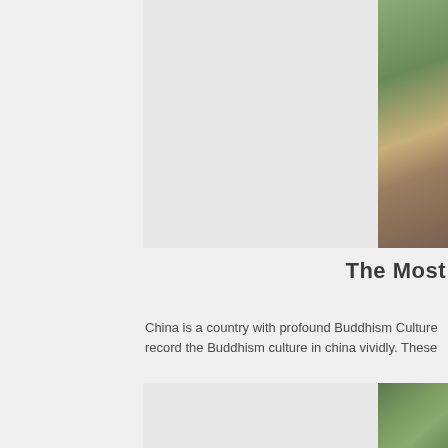[Figure (photo): Partial view of a Buddhist stone carving or rock face with colorful painted figures, surrounded by green foliage, cropped at the right edge of the page.]
The Most
China is a country with profound Buddhism Culture record the Buddhism culture in china vividly. These
[Figure (photo): Partial view of a second outdoor Buddhist or nature scene with green trees and foliage, cropped at the right edge.]